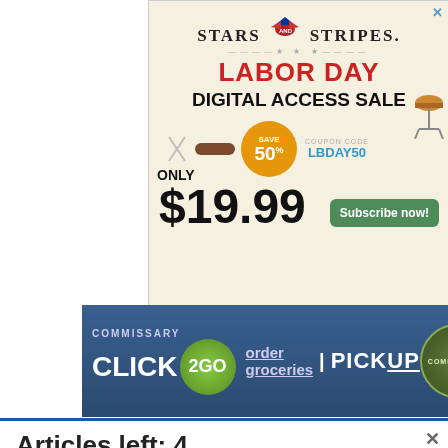[Figure (infographic): Stars and Stripes Labor Day Digital Access Sale advertisement. Shows logo, 'LABOR DAY DIGITAL ACCESS SALE' text, 'ONLY $19.99', 'SAVE 50%' badge, coupon code LBDAY50, and Subscribe now button.]
[Figure (infographic): Commissary Click2Go advertisement banner showing logo, 'order groceries' and 'PICKUP' text on blue background.]
Articles left: 4
Subscribe to get unlimited access Subscribe
Already have an account? Login here